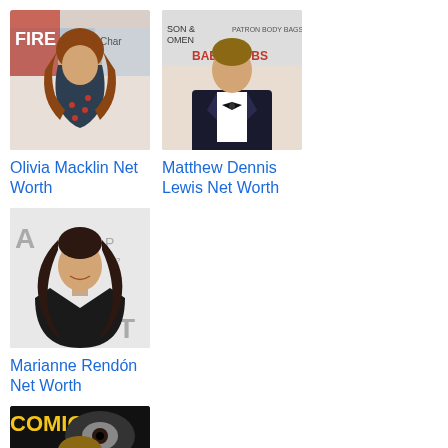[Figure (photo): Photo of Olivia Macklin at an event with Charter backdrop]
Olivia Macklin Net Worth
[Figure (photo): Photo of Matthew Dennis Lewis in a tuxedo at an event]
Matthew Dennis Lewis Net Worth
[Figure (photo): Photo of Marianne Rendón at an event]
Marianne Rendón Net Worth
[Figure (photo): Photo of Scott Eastwood at Comic-Con panel]
Scott Eastwood Diet Plan